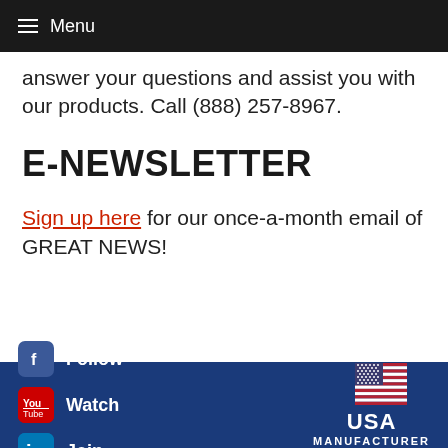Menu
answer your questions and assist you with our products. Call (888) 257-8967.
E-NEWSLETTER
Sign up here for our once-a-month email of GREAT NEWS!
Follow | Watch | Join | USA MANUFACTURER